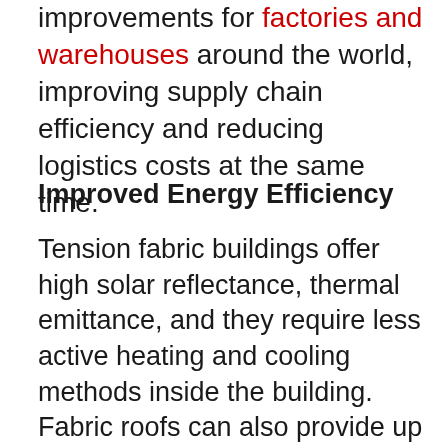improvements for factories and warehouses around the world, improving supply chain efficiency and reducing logistics costs at the same time.
Improved Energy Efficiency
Tension fabric buildings offer high solar reflectance, thermal emittance, and they require less active heating and cooling methods inside the building. Fabric roofs can also provide up to 12% translucency, allowing a higher degree of natural light to enter the facility, improving energy efficiency and reducing electrical costs. Furthermore, fabric buildings can be equipped with insulation to any R-value of thermal resistance, reducing the need for HVAC systems and lowering climate-control costs. Passive and active ventilation systems can be installed in most fabric